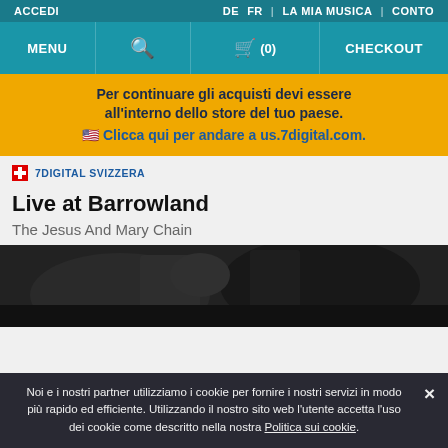ACCEDI | DE FR | LA MIA MUSICA | CONTO
MENU | search | cart (0) | CHECKOUT
Per continuare gli acquisti devi essere all'interno dello store del tuo paese. 🇺🇸 Clicca qui per andare a us.7digital.com.
🇨🇭 7DIGITAL SVIZZERA
Live at Barrowland
The Jesus And Mary Chain
[Figure (photo): Album cover photo for Live at Barrowland by The Jesus And Mary Chain — dark black and white image]
Noi e i nostri partner utilizziamo i cookie per fornire i nostri servizi in modo più rapido ed efficiente. Utilizzando il nostro sito web l'utente accetta l'uso dei cookie come descritto nella nostra Politica sui cookie.